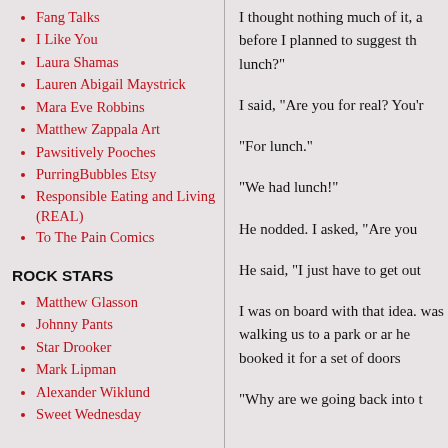Fang Talks
I Like You
Laura Shamas
Lauren Abigail Maystrick
Mara Eve Robbins
Matthew Zappala Art
Pawsitively Pooches
PurringBubbles Etsy
Responsible Eating and Living (REAL)
To The Pain Comics
ROCK STARS
Matthew Glasson
Johnny Pants
Star Drooker
Mark Lipman
Alexander Wiklund
Sweet Wednesday
I thought nothing much of it, a before I planned to suggest th lunch?"
I said, "Are you for real? You'r
"For lunch."
"We had lunch!"
He nodded. I asked, "Are you
He said, "I just have to get out
I was on board with that idea. was walking us to a park or ar he booked it for a set of doors
"Why are we going back into t